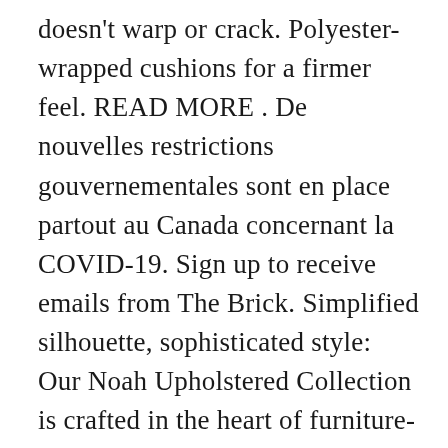doesn't warp or crack. Polyester-wrapped cushions for a firmer feel. READ MORE . De nouvelles restrictions gouvernementales sont en place partout au Canada concernant la COVID-19. Sign up to receive emails from The Brick. Simplified silhouette, sophisticated style: Our Noah Upholstered Collection is crafted in the heart of furniture-making country, just outside of Hickory, North Carolina, by master upholsterers. Floor model 3-drawer mirrored night tables for $325 each. Click link below. Promotion Details The Brick Warehouse LP. SHOP SIMILAR . … As per government bylaws, in-store shopping is currently limited to appliances only for all